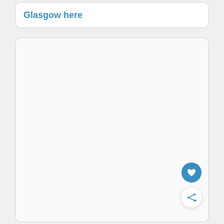Glasgow here
[Figure (other): Large empty white rounded card panel below the title card, with a heart/favorite button (blue circle with white heart icon) and a share button (white circle with share icon) in the bottom-right corner.]